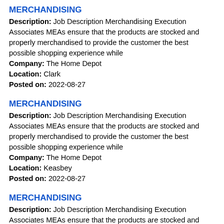MERCHANDISING
Description: Job Description Merchandising Execution Associates MEAs ensure that the products are stocked and properly merchandised to provide the customer the best possible shopping experience while
Company: The Home Depot
Location: Clark
Posted on: 2022-08-27
MERCHANDISING
Description: Job Description Merchandising Execution Associates MEAs ensure that the products are stocked and properly merchandised to provide the customer the best possible shopping experience while
Company: The Home Depot
Location: Keasbey
Posted on: 2022-08-27
MERCHANDISING
Description: Job Description Merchandising Execution Associates MEAs ensure that the products are stocked and properly merchandised to provide the customer the best possible shopping experience while
Company: The Home Depot
Location: Claymont
Posted on: 2022-08-27